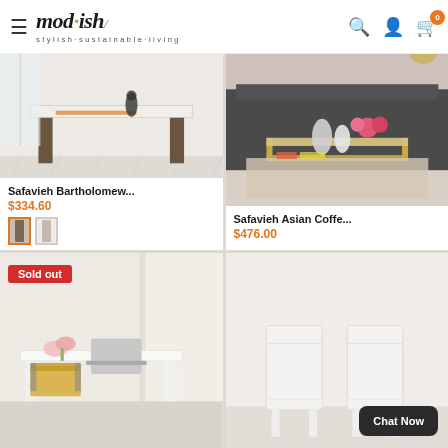mod·ish/ stylish·sustainable·living — navigation header with search, account, and cart (0 items)
[Figure (photo): Safavieh Bartholomew console table in a white room setting]
Safavieh Bartholomew...
$334.60
[Figure (photo): Safavieh Asian coffee table with gold frame in a living room setting]
Safavieh Asian Coffe...
$476.00
[Figure (photo): White desk in a bright room setting, marked Sold out]
[Figure (photo): Two white dining chairs]